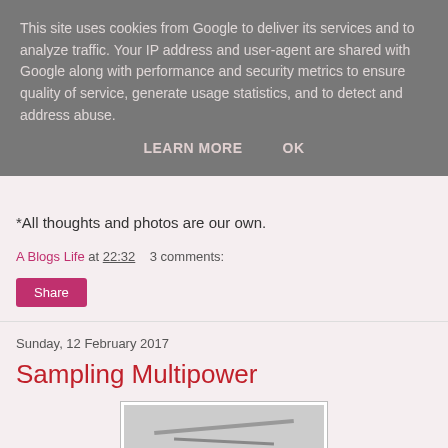This site uses cookies from Google to deliver its services and to analyze traffic. Your IP address and user-agent are shared with Google along with performance and security metrics to ensure quality of service, generate usage statistics, and to detect and address abuse.
LEARN MORE    OK
*All thoughts and photos are our own.
A Blogs Life at 22:32    3 comments:
Share
Sunday, 12 February 2017
Sampling Multipower
[Figure (photo): Partial photo visible at the bottom of the page, appears to be a black and white image]